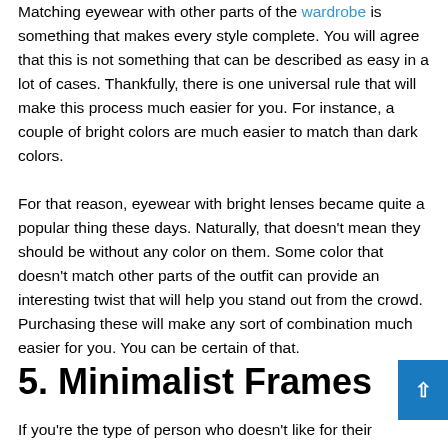Matching eyewear with other parts of the wardrobe is something that makes every style complete. You will agree that this is not something that can be described as easy in a lot of cases. Thankfully, there is one universal rule that will make this process much easier for you. For instance, a couple of bright colors are much easier to match than dark colors.
For that reason, eyewear with bright lenses became quite a popular thing these days. Naturally, that doesn't mean they should be without any color on them. Some color that doesn't match other parts of the outfit can provide an interesting twist that will help you stand out from the crowd. Purchasing these will make any sort of combination much easier for you. You can be certain of that.
5. Minimalist Frames
If you're the type of person who doesn't like for their eyewear